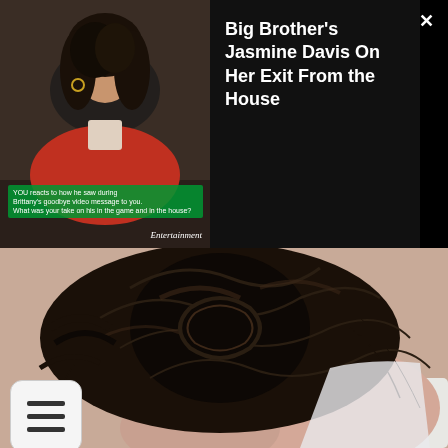[Figure (screenshot): Video player overlay showing a woman in red jacket with dark hair, Entertainment Weekly watermark, subtitle bar with green background text about Brittany's goodbye video message]
Big Brother's Jasmine Davis On Her Exit From the House
[Figure (photo): Close-up photo of the back of a woman's head with dark brown hair styled in a messy updo bun, showing her neck and white clothing, with a soft beige background]
[Figure (screenshot): Hamburger menu icon (three horizontal lines) on a white rounded rectangle button]